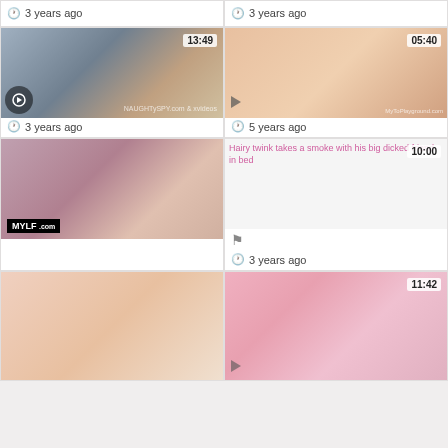3 years ago
3 years ago
[Figure (screenshot): Video thumbnail showing two people at a doorway, duration 13:49, Naughtyspy watermark]
3 years ago
[Figure (screenshot): Video thumbnail showing explicit content, duration 05:40, MyToPlayground.com watermark]
5 years ago
[Figure (screenshot): Video thumbnail showing woman in lingerie in bathroom, MYLF.com watermark]
[Figure (screenshot): Broken image: Hairy twink takes a smoke with his big dicked friend in bed, duration 10:00]
3 years ago
[Figure (screenshot): Video thumbnail showing blonde woman, partially visible]
[Figure (screenshot): Video thumbnail showing explicit content, duration 11:42, partially visible]